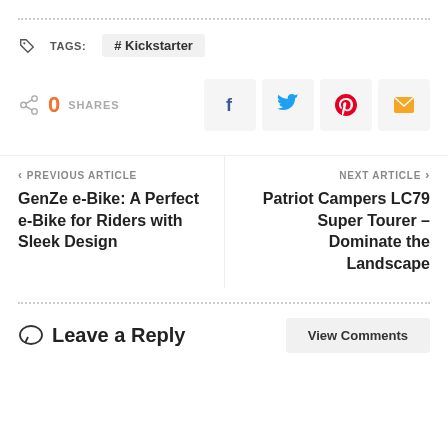TAGS: # Kickstarter
0 SHARES
PREVIOUS ARTICLE
GenZe e-Bike: A Perfect e-Bike for Riders with Sleek Design
NEXT ARTICLE
Patriot Campers LC79 Super Tourer – Dominate the Landscape
Leave a Reply
View Comments